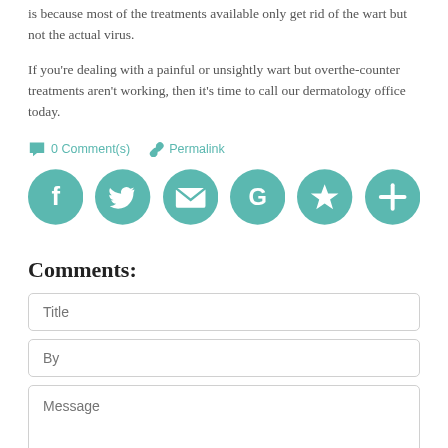is because most of the treatments available only get rid of the wart but not the actual virus.
If you’re dealing with a painful or unsightly wart but overthe-counter treatments aren’t working, then it’s time to call our dermatology office today.
0 Comment(s)   Permalink
[Figure (infographic): Six teal social sharing icon circles: Facebook, Twitter, Email/envelope, Google, Star/Favorites, Plus/Add]
Comments:
Title
By
Message